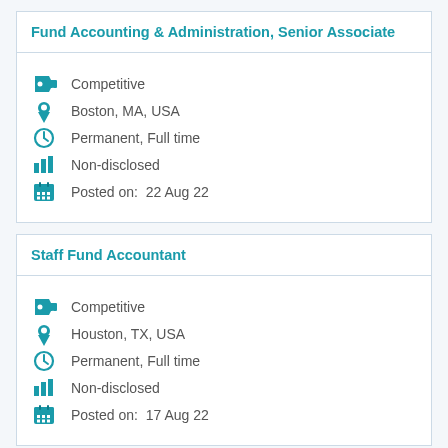Fund Accounting & Administration, Senior Associate
Competitive
Boston, MA, USA
Permanent, Full time
Non-disclosed
Posted on: 22 Aug 22
Staff Fund Accountant
Competitive
Houston, TX, USA
Permanent, Full time
Non-disclosed
Posted on: 17 Aug 22
Fund Accounting & Administration, Officer (Fixed